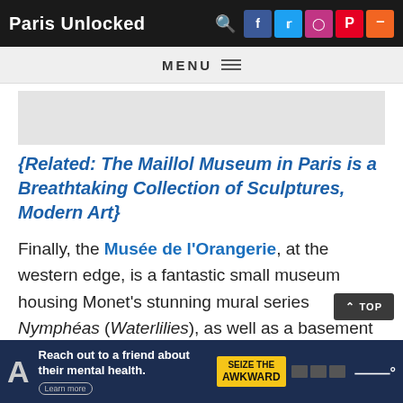Paris Unlocked
MENU
[Figure (other): Grey advertisement placeholder rectangle]
{Related: The Maillol Museum in Paris is a Breathtaking Collection of Sculptures, Modern Art}
Finally, the Musée de l'Orangerie, at the western edge, is a fantastic small museum housing Monet's stunning mural series Nymphéas (Waterlilies), as well as a basement collection of impressionist and expressionist masterpieces.
[Figure (other): Bottom advertisement banner: 'Reach out to a friend about their mental health. Learn more' with SEIZE THE AWKWARD badge and logos]